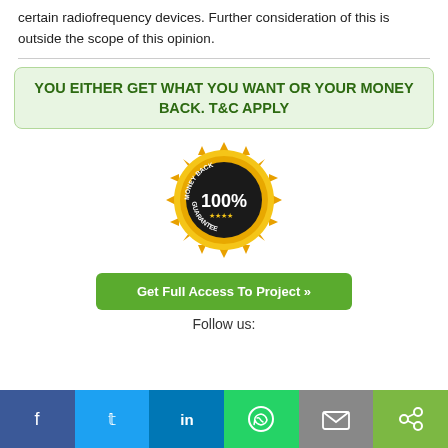certain radiofrequency devices. Further consideration of this is outside the scope of this opinion.
YOU EITHER GET WHAT YOU WANT OR YOUR MONEY BACK. T&C APPLY
[Figure (illustration): Gold badge/seal with text 'MONEY BACK 100% GUARANTEE']
Get Full Access To Project »
Follow us:
[Figure (infographic): Social media share bar with Facebook, Twitter, LinkedIn, WhatsApp, Email, and Share buttons]